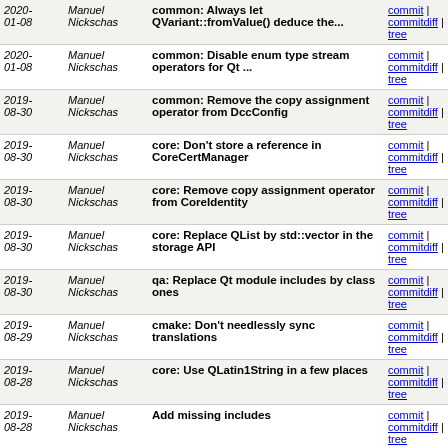| Date | Author | Message | Links |
| --- | --- | --- | --- |
| 2020-01-08 | Manuel Nickschas | common: Always let QVariant::fromValue() deduce the... | commit | commitdiff | tree |
| 2020-01-08 | Manuel Nickschas | common: Disable enum type stream operators for Qt ... | commit | commitdiff | tree |
| 2019-08-30 | Manuel Nickschas | common: Remove the copy assignment operator from DccConfig | commit | commitdiff | tree |
| 2019-08-30 | Manuel Nickschas | core: Don't store a reference in CoreCertManager | commit | commitdiff | tree |
| 2019-08-30 | Manuel Nickschas | core: Remove copy assignment operator from CoreIdentity | commit | commitdiff | tree |
| 2019-08-30 | Manuel Nickschas | core: Replace QList by std::vector in the storage API | commit | commitdiff | tree |
| 2019-08-30 | Manuel Nickschas | qa: Replace Qt module includes by class ones | commit | commitdiff | tree |
| 2019-08-29 | Manuel Nickschas | cmake: Don't needlessly sync translations | commit | commitdiff | tree |
| 2019-08-28 | Manuel Nickschas | core: Use QLatin1String in a few places | commit | commitdiff | tree |
| 2019-08-28 | Manuel Nickschas | Add missing includes | commit | commitdiff | tree |
| 2019-08-04 | Manuel Nickschas | tests: Fix include order | commit | commitdiff | tree |
| 2019-01-24 | Manuel Nickschas | src: Yearly copyright bump | commit | commitdiff | tree |
| 2019-... | Manuel | cmake: Remove left over debug... | commit |